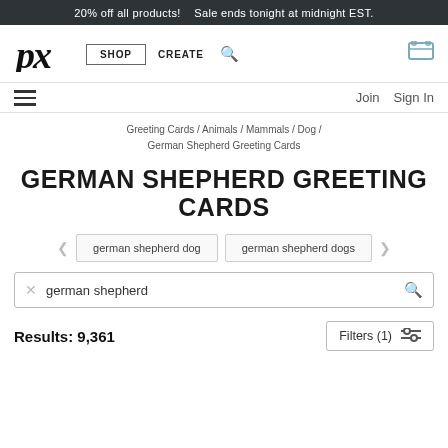20% off all products!   Sale ends tonight at midnight EST.
[Figure (logo): px logo in stylized italic script font]
SHOP   CREATE
Join   Sign In
Greeting Cards / Animals / Mammals / Dog / German Shepherd Greeting Cards
GERMAN SHEPHERD GREETING CARDS
german shepherd dog
german shepherd dogs
german shepherd
Results: 9,361
Filters (1)